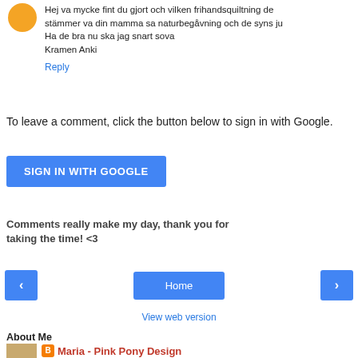Hej va mycke fint du gjort och vilken frihandsquiltning de stämmer va din mamma sa naturbegåvning och de syns ju Ha de bra nu ska jag snart sova Kramen Anki
Reply
To leave a comment, click the button below to sign in with Google.
SIGN IN WITH GOOGLE
Comments really make my day, thank you for taking the time! <3
‹
Home
›
View web version
About Me
Maria - Pink Pony Design